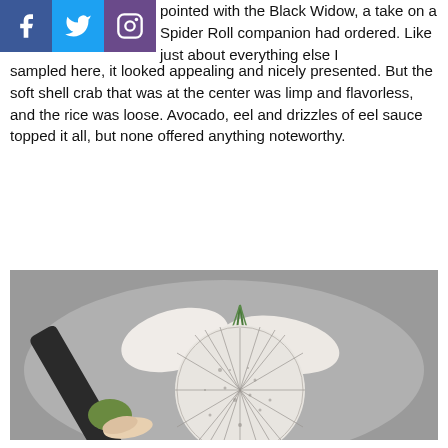pointed with the Black Widow, a take on a Spider Roll companion had ordered. Like just about everything else I sampled here, it looked appealing and nicely presented. But the soft shell crab that was at the center was limp and flavorless, and the rice was loose. Avocado, eel and drizzles of eel sauce topped it all, but none offered anything noteworthy.
[Figure (photo): A plate of sushi or Japanese food items on a grey ceramic plate with a decorative white round dish, dark seaweed wrapping, white fish pieces, green herb garnish, wasabi and pickled ginger.]